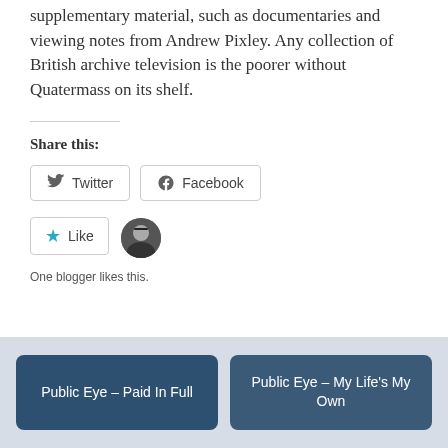supplementary material, such as documentaries and viewing notes from Andrew Pixley. Any collection of British archive television is the poorer without Quatermass on its shelf.
Share this:
[Figure (other): Twitter and Facebook share buttons]
[Figure (other): Like button with avatar. One blogger likes this.]
One blogger likes this.
Public Eye – Paid In Full
Public Eye – My Life's My Own